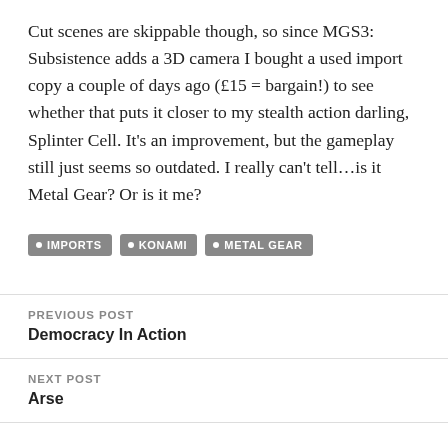Cut scenes are skippable though, so since MGS3: Subsistence adds a 3D camera I bought a used import copy a couple of days ago (£15 = bargain!) to see whether that puts it closer to my stealth action darling, Splinter Cell. It's an improvement, but the gameplay still just seems so outdated. I really can't tell…is it Metal Gear? Or is it me?
IMPORTS
KONAMI
METAL GEAR
PREVIOUS POST
Democracy In Action
NEXT POST
Arse